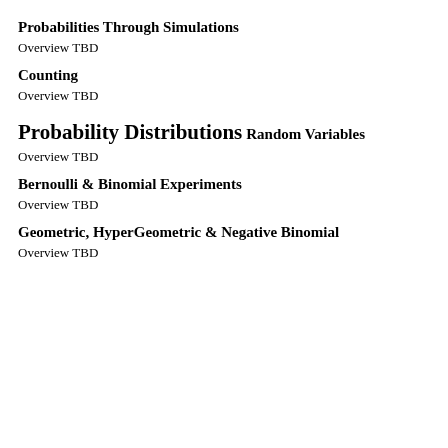Probabilities Through Simulations
Overview TBD
Counting
Overview TBD
Probability Distributions
Random Variables
Overview TBD
Bernoulli & Binomial Experiments
Overview TBD
Geometric, HyperGeometric & Negative Binomial
Overview TBD